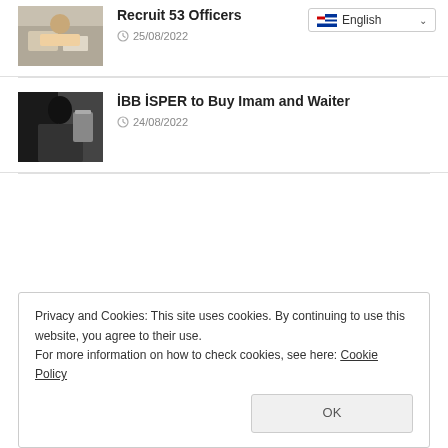[Figure (photo): Thumbnail photo of people at a desk, hands visible with papers]
Recruit 53 Officers
25/08/2022
[Figure (photo): Thumbnail photo of a person in dark suit holding a tray]
İBB İSPER to Buy Imam and Waiter
24/08/2022
Privacy and Cookies: This site uses cookies. By continuing to use this website, you agree to their use.
For more information on how to check cookies, see here: Cookie Policy